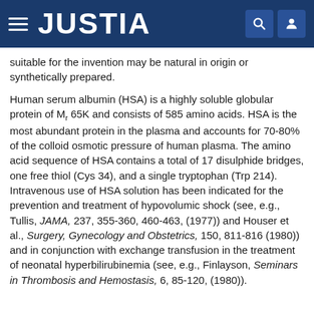JUSTIA
suitable for the invention may be natural in origin or synthetically prepared.
Human serum albumin (HSA) is a highly soluble globular protein of Mr 65K and consists of 585 amino acids. HSA is the most abundant protein in the plasma and accounts for 70-80% of the colloid osmotic pressure of human plasma. The amino acid sequence of HSA contains a total of 17 disulphide bridges, one free thiol (Cys 34), and a single tryptophan (Trp 214). Intravenous use of HSA solution has been indicated for the prevention and treatment of hypovolumic shock (see, e.g., Tullis, JAMA, 237, 355-360, 460-463, (1977)) and Houser et al., Surgery, Gynecology and Obstetrics, 150, 811-816 (1980)) and in conjunction with exchange transfusion in the treatment of neonatal hyperbilirubinemia (see, e.g., Finlayson, Seminars in Thrombosis and Hemostasis, 6, 85-120, (1980)).